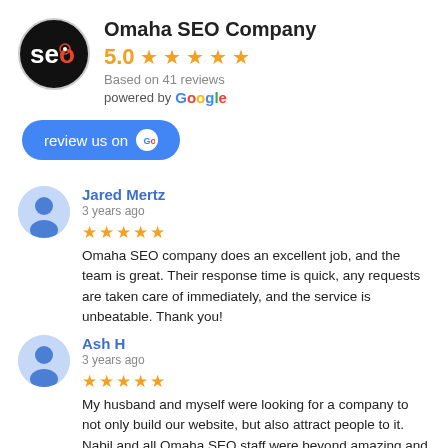Omaha SEO Company
5.0 ★★★★★
Based on 41 reviews
powered by Google
review us on G
Jared Mertz
3 years ago
★★★★★ Omaha SEO company does an excellent job, and the team is great. Their response time is quick, any requests are taken care of immediately, and the service is unbeatable. Thank you!
Ash H
3 years ago
★★★★★ My husband and myself were looking for a company to not only build our website, but also attract people to it. Nabil and all Omaha SEO staff were beyond amazing and exceeded our expectations in every way. I am so grateful for their guidance throughout this whole process and I